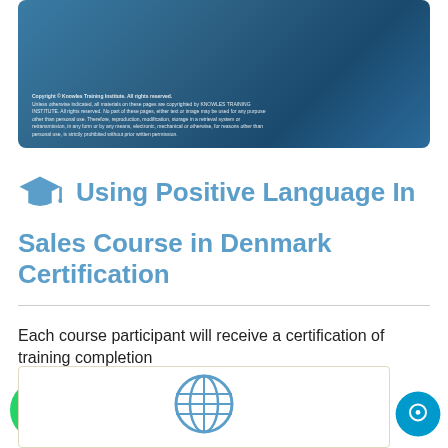[Figure (photo): Blue-toned banner image with keyboard/technology background and copyright text overlay for Knowles Training Institute]
Copyright © Knowles Training Institute. All rights reserved. Unless otherwise indicated, all materials on these pages are copyrighted by KNOWLES TRAINING INSTITUTE. All rights reserved. No part of these pages, either text or image may be used for any purpose other than personal use. Therefore, reproduction, modification, storage in a retrieval system or retransmission, in any form or by any means, electronic, mechanical or otherwise, for reasons other than personal use, is strictly prohibited without prior written permission.
Using Positive Language In Sales Course in Denmark Certification
Each course participant will receive a certification of training completion
[Figure (illustration): Globe icon illustration at bottom of page]